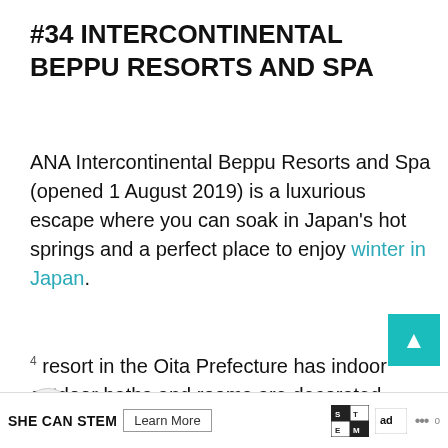#34 INTERCONTINENTAL BEPPU RESORTS AND SPA
ANA Intercontinental Beppu Resorts and Spa (opened 1 August 2019) is a luxurious escape where you can soak in Japan's hot springs and a perfect place to enjoy winter in Japan.
resort in the Oita Prefecture has indoor outdoor baths and rooms are decorated amboo craftwork.
Check the prices for ANA Intercontinental
[Figure (other): Web UI elements: heart/like button (dark circle), share button (light circle with share icon), teal up-arrow navigation button, 'WHAT'S NEXT' sidebar with thumbnail, ad banner 'SHE CAN STEM Learn More' with STEM and Ad Council logos]